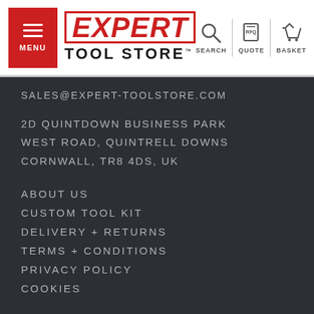[Figure (logo): Expert Tool Store header with hamburger menu button, logo showing EXPERT TOOL STORE in red and black, and icons for Search, Quote (RFQ), and Basket]
SALES@EXPERT-TOOLSTORE.COM
2D QUINTDOWN BUSINESS PARK
WEST ROAD, QUINTRELL DOWNS
CORNWALL, TR8 4DS, UK
ABOUT US
CUSTOM TOOL KIT
DELIVERY + RETURNS
TERMS + CONDITIONS
PRIVACY POLICY
COOKIES